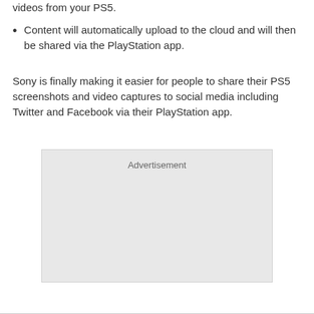videos from your PS5.
Content will automatically upload to the cloud and will then be shared via the PlayStation app.
Sony is finally making it easier for people to share their PS5 screenshots and video captures to social media including Twitter and Facebook via their PlayStation app.
[Figure (other): Advertisement placeholder box with light grey background]